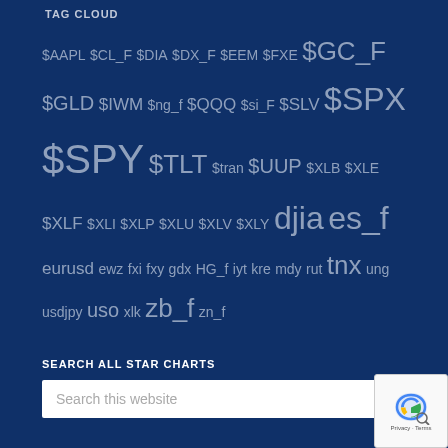TAG CLOUD
$AAPL $CL_F $DIA $DX_F $EEM $FXE $GC_F $GLD $IWM $ng_f $QQQ $si_F $SLV $SPX $SPY $TLT $tran $UUP $XLB $XLE $XLF $XLI $XLP $XLU $XLV $XLY djia es_f eurusd ewz fxi fxy gdx HG_f iyt kre mdy rut tnx ung usdjpy uso xlk zb_f zn_f
SEARCH ALL STAR CHARTS
Search this website